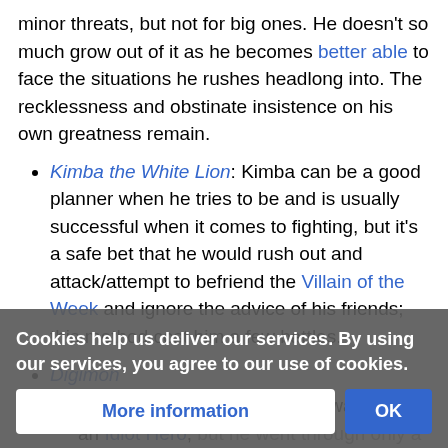minor threats, but not for big ones. He doesn't so much grow out of it as he becomes better able to face the situations he rushes headlong into. The recklessness and obstinate insistence on his own greatness remain.
Kimba the White Lion: Kimba can be a good planner when he tries to be and is usually successful when it comes to fighting, but it's a safe bet that he would rush out and attack/attempt to befriend the Villain of the Week and ignore the advice of his friends; this method cost him a few battles.
Digimon
Digimon Adventure: Tai has always been an Idiot Hero, but he went through only a brief phase of this trope outright. Eventually the group came to the observation that a partner Digimon's tamer has to be in da... part of his
Cookies help us deliver our services. By using our services, you agree to our use of cookies.